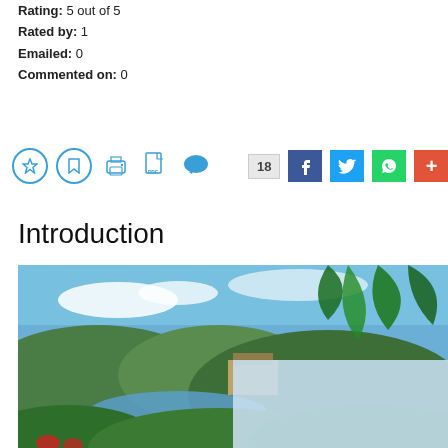Rating: 5 out of 5
Rated by: 1
Emailed: 0
Commented on: 0
[Figure (other): Social sharing icons bar with bookmark, print, PDF, comment icons and share buttons for Facebook, Twitter, WhatsApp, and a plus button showing count of 18]
Introduction
[Figure (photo): Tropical landscape photo showing green hills, a lake or bay, a hotel building nestled in vegetation, blue sky with clouds, and lush tropical foliage in the foreground. A second partially visible lighter blue square overlaps the bottom-right.]